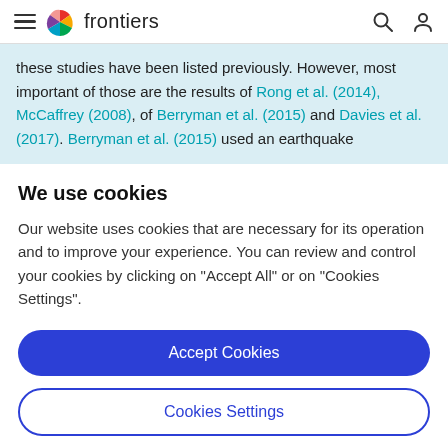frontiers
these studies have been listed previously. However, most important of those are the results of Rong et al. (2014), McCaffrey (2008), of Berryman et al. (2015) and Davies et al. (2017). Berryman et al. (2015) used an earthquake
We use cookies
Our website uses cookies that are necessary for its operation and to improve your experience. You can review and control your cookies by clicking on "Accept All" or on "Cookies Settings".
Accept Cookies
Cookies Settings